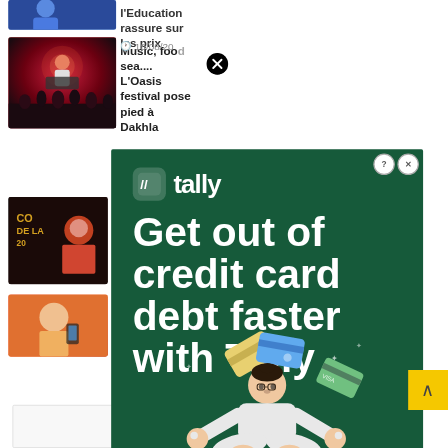l'Education rassure sur les prix
10/08/20...
Music, food sea.... L'Oasis festival pose pied à Dakhla
[Figure (screenshot): Tally advertisement overlay on a news website. Green background with Tally logo and text: 'Get out of credit card debt faster with Tally'. A close button (black circle with X) is visible. Ad controls (? and X buttons) in top right. Illustration of meditating person juggling credit cards at bottom. Yellow scroll-to-top button visible.]
orite la
o juillet